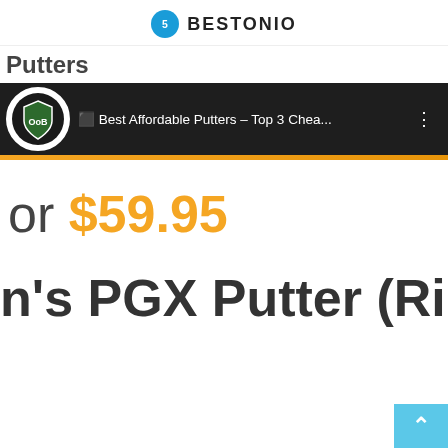BESTONIO
Putters
[Figure (screenshot): Video thumbnail bar showing Out Of Bounds Golf channel logo and title: Best Affordable Putters – Top 3 Chea...]
or $59.95
n's PGX Putter (Ri